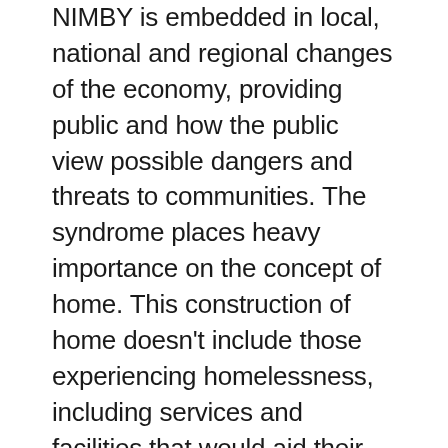NIMBY is embedded in local, national and regional changes of the economy, providing public and how the public view possible dangers and threats to communities. The syndrome places heavy importance on the concept of home. This construction of home doesn't include those experiencing homelessness, including services and facilities that would aid their well-being. Physically separating the location of home spaces and places of residence for the homeless population is a socially constructed form of stigma.6 Further, the concentration of human services in specific locations enables the reinforcement of stigmatising those areas. This results in difficulty accessing services. Being physically distant is